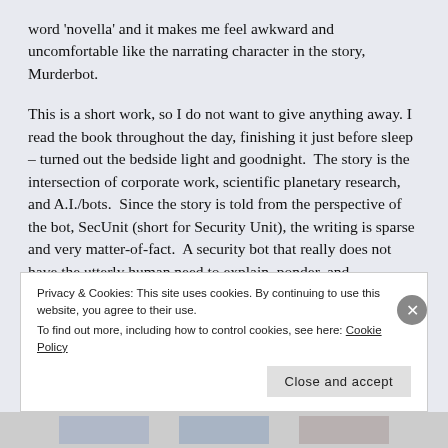word 'novella' and it makes me feel awkward and uncomfortable like the narrating character in the story, Murderbot.
This is a short work, so I do not want to give anything away. I read the book throughout the day, finishing it just before sleep – turned out the bedside light and goodnight.  The story is the intersection of corporate work, scientific planetary research, and A.I./bots.  Since the story is told from the perspective of the bot, SecUnit (short for Security Unit), the writing is sparse and very matter-of-fact.  A security bot that really does not have the utterly human need to explain, ponder, and relationship everything keeps the storytelling
Privacy & Cookies: This site uses cookies. By continuing to use this website, you agree to their use.
To find out more, including how to control cookies, see here: Cookie Policy
Close and accept